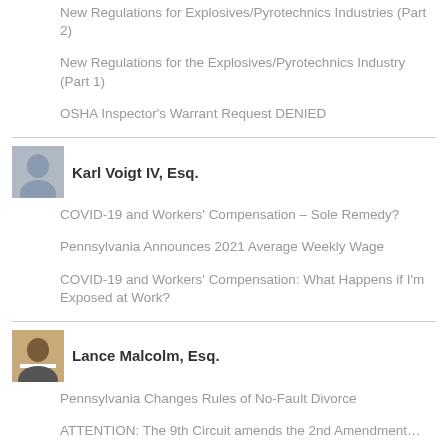New Regulations for Explosives/Pyrotechnics Industries (Part 2)
New Regulations for the Explosives/Pyrotechnics Industry (Part 1)
OSHA Inspector’s Warrant Request DENIED
Karl Voigt IV, Esq.
COVID-19 and Workers’ Compensation – Sole Remedy?
Pennsylvania Announces 2021 Average Weekly Wage
COVID-19 and Workers’ Compensation: What Happens if I’m Exposed at Work?
Lance Malcolm, Esq.
Pennsylvania Changes Rules of No-Fault Divorce
ATTENTION: The 9th Circuit amends the 2nd Amendment…